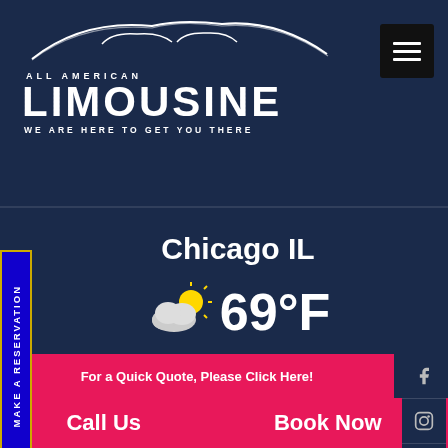[Figure (logo): All American Limousine logo with car arc silhouette and text WE ARE HERE TO GET YOU THERE]
[Figure (screenshot): Hamburger menu button (three white lines on black background)]
MAKE A RESERVATION
Chicago IL
69°F with partly cloudy weather icon
For a Quick Quote, Please Click Here!
[Figure (infographic): Social media icons on right side: Facebook, Instagram, Twitter, Pinterest]
Office: (773) 992-0902
Call Us   Book Now